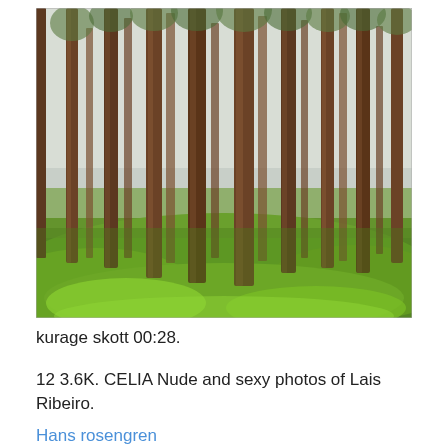[Figure (photo): A Scandinavian pine forest with tall, slender tree trunks and a lush green undergrowth of low plants covering the forest floor. The sky is overcast.]
kurage skott 00:28.
12 3.6K. CELIA Nude and sexy photos of Lais Ribeiro.
Hans rosengren